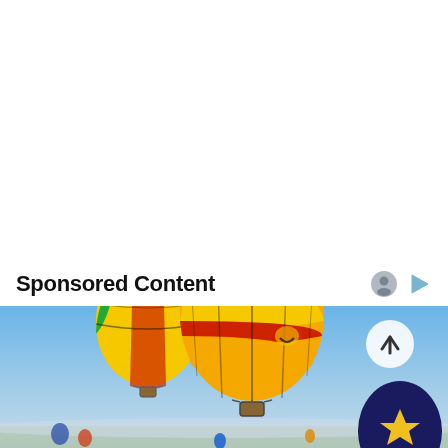Sponsored Content
[Figure (photo): Hot air balloons festival scene with colorful balloons floating in a blue sky. A large red, orange, and yellow striped balloon dominates the center, with a smaller green and orange balloon to its left. In the background, more balloons are visible near the horizon, including a dark navy balloon with a yellow star pattern in the lower right corner. A scroll-up button is overlaid on the upper right of the image.]